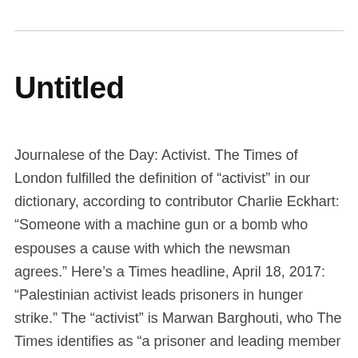Untitled
Journalese of the Day: Activist. The Times of London fulfilled the definition of “activist” in our dictionary, according to contributor Charlie Eckhart: “Someone with a machine gun or a bomb who espouses a cause with which the newsman agrees.” Here’s a Times headline, April 18, 2017: “Palestinian activist leads prisoners in hunger strike.” The “activist” is Marwan Barghouti, who The Times identifies as “a prisoner and leading member of the… Read Article →